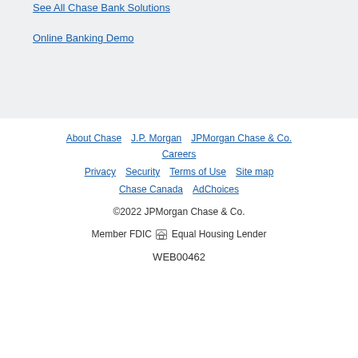See All Chase Bank Solutions
Online Banking Demo
About Chase | J.P. Morgan | JPMorgan Chase & Co. | Careers | Privacy | Security | Terms of Use | Site map | Chase Canada | AdChoices | ©2022 JPMorgan Chase & Co. | Member FDIC Equal Housing Lender | WEB00462